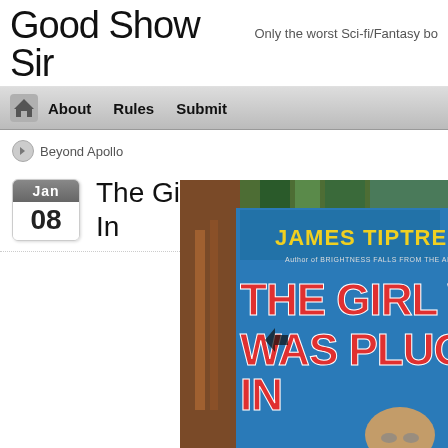Good Show Sir — Only the worst Sci-fi/Fantasy bo...
About  Rules  Submit
Beyond Apollo
The Girl Who Was Plugged In
[Figure (photo): Book cover photo: James Tiptree Jr. 'The Girl Who Was Plugged In' — blue cover with large red/white text, partially cropped, surrounded by other books]